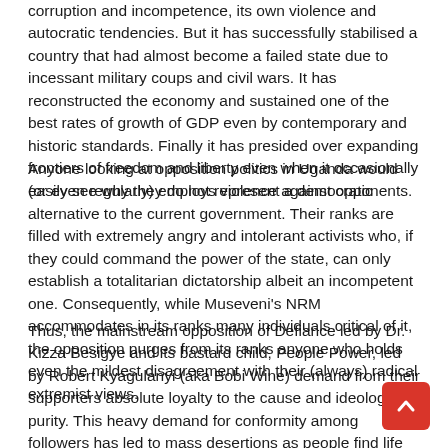corruption and incompetence, its own violence and autocratic tendencies. But it has successfully stabilised a country that had almost become a failed state due to incessant military coups and civil wars. It has reconstructed the economy and sustained one of the best rates of growth of GDP even by contemporary and historic standards. Finally it has presided over expanding frontiers of freedom and liberty even when it occasionally (or even regularly) employs violence against opponents.
Anyone looking at opposition politics in Uganda would easily see why they do not represent a democratic alternative to the current government. Their ranks are filled with extremely angry and intolerant activists who, if they could command the power of the state, can only establish a totalitarian dictatorship albeit an incompetent one. Consequently, while Museveni's NRM accommodates in its ranks many individuals critical of it, the opposition purges from its ranks anyone who holds even the mildest disagreement with their (always) radical extremist views.
Thus, the mainstream opposition of Defiance led by Dr. Kizza Besigye and its bastard child, People Power, led by Robert Kyagulanyi (aka Bobi Wine) demand from their supporters absolute loyalty to the cause and ideological purity. This heavy demand for conformity among followers has led to mass desertions as people find life inside these cults